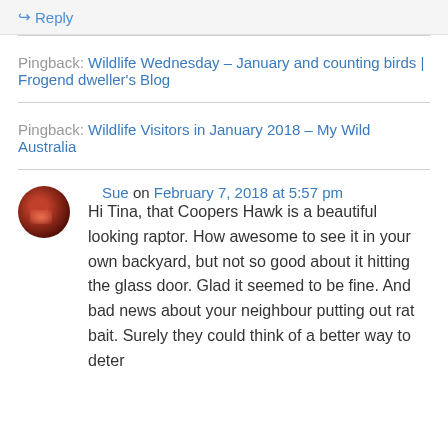↪ Reply
Pingback: Wildlife Wednesday – January and counting birds | Frogend dweller's Blog
Pingback: Wildlife Visitors in January 2018 – My Wild Australia
Sue on February 7, 2018 at 5:57 pm
Hi Tina, that Coopers Hawk is a beautiful looking raptor. How awesome to see it in your own backyard, but not so good about it hitting the glass door. Glad it seemed to be fine. And bad news about your neighbour putting out rat bait. Surely they could think of a better way to deter